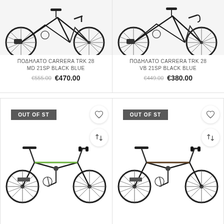[Figure (photo): Top-left: Carrera TRK 28 MD 21SP BLACK BLUE road bike, partial top crop]
[Figure (photo): Top-right: Carrera TRK 28 VB 21SP BLACK BLUE road bike, partial top crop]
ΠΟΔΗΛΑΤΟ CARRERA TRK 28 MD 21SP BLACK BLUE
€555.00  €470.00
ΠΟΔΗΛΑΤΟ CARRERA TRK 28 VB 21SP BLACK BLUE
€449.00  €380.00
[Figure (photo): Bottom-left: Folding bike with OUT OF STOCK badge, wishlist and compare buttons, green accents]
[Figure (photo): Bottom-right: Folding bike with OUT OF STOCK badge, wishlist and compare buttons, dark/brown color]